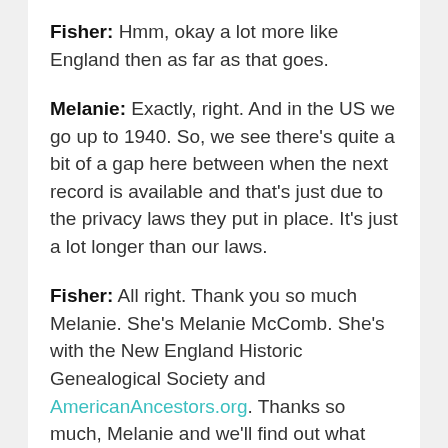Fisher: Hmm, okay a lot more like England then as far as that goes.
Melanie: Exactly, right. And in the US we go up to 1940. So, we see there's quite a bit of a gap here between when the next record is available and that's just due to the privacy laws they put in place. It's just a lot longer than our laws.
Fisher: All right. Thank you so much Melanie. She's Melanie McComb. She's with the New England Historic Genealogical Society and AmericanAncestors.org. Thanks so much, Melanie and we'll find out what else